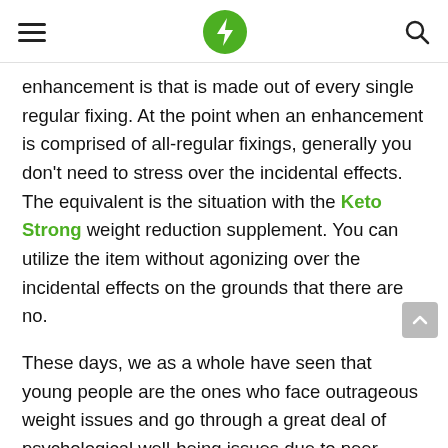[hamburger menu] [lightning bolt logo] [search icon]
enhancement is that is made out of every single regular fixing. At the point when an enhancement is comprised of all-regular fixings, generally you don't need to stress over the incidental effects. The equivalent is the situation with the Keto Strong weight reduction supplement. You can utilize the item without agonizing over the incidental effects on the grounds that there are no.
These days, we as a whole have seen that young people are the ones who face outrageous weight issues and go through a great deal of psychological well-being issues due to peer pressure. So assuming you are a teen, we recommend that you certainly go